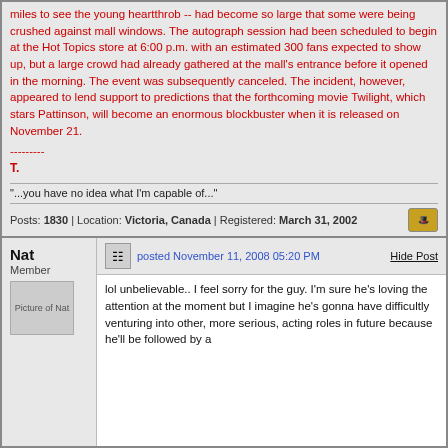miles to see the young heartthrob -- had become so large that some were being crushed against mall windows. The autograph session had been scheduled to begin at the Hot Topics store at 6:00 p.m. with an estimated 300 fans expected to show up, but a large crowd had already gathered at the mall's entrance before it opened in the morning. The event was subsequently canceled. The incident, however, appeared to lend support to predictions that the forthcoming movie Twilight, which stars Pattinson, will become an enormous blockbuster when it is released on November 21.
---------
T.
"...you have no idea what I'm capable of..."
Posts: 1830 | Location: Victoria, Canada | Registered: March 31, 2002
Nat
Member
posted November 11, 2008 05:20 PM
Hide Post
lol unbelievable.. I feel sorry for the guy. I'm sure he's loving the attention at the moment but I imagine he's gonna have difficultly venturing into other, more serious, acting roles in future because he'll be followed by a